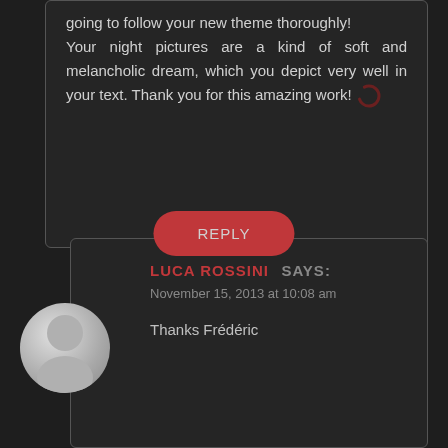going to follow your new theme thoroughly! Your night pictures are a kind of soft and melancholic dream, which you depict very well in your text. Thank you for this amazing work!
REPLY
LUCA ROSSINI SAYS: November 15, 2013 at 10:08 am
Thanks Frédéric